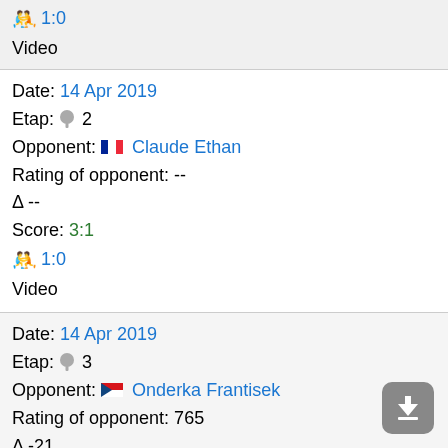🤼 1:0
Video
Date: 14 Apr 2019
Etap: 📌 2
Opponent: 🇫🇷 Claude Ethan
Rating of opponent: --
Δ --
Score: 3:1
🤼 1:0
Video
Date: 14 Apr 2019
Etap: 📌 3
Opponent: 🇨🇿 Onderka Frantisek
Rating of opponent: 765
Δ -21
Score: 0:3
🤼 0:1